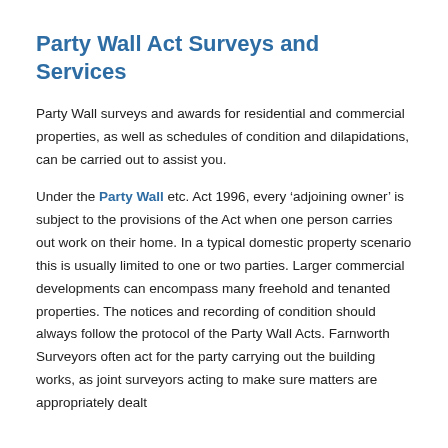Party Wall Act Surveys and Services
Party Wall surveys and awards for residential and commercial properties, as well as schedules of condition and dilapidations, can be carried out to assist you.
Under the Party Wall etc. Act 1996, every ‘adjoining owner’ is subject to the provisions of the Act when one person carries out work on their home. In a typical domestic property scenario this is usually limited to one or two parties. Larger commercial developments can encompass many freehold and tenanted properties. The notices and recording of condition should always follow the protocol of the Party Wall Acts. Farnworth Surveyors often act for the party carrying out the building works, as joint surveyors acting to make sure matters are appropriately dealt